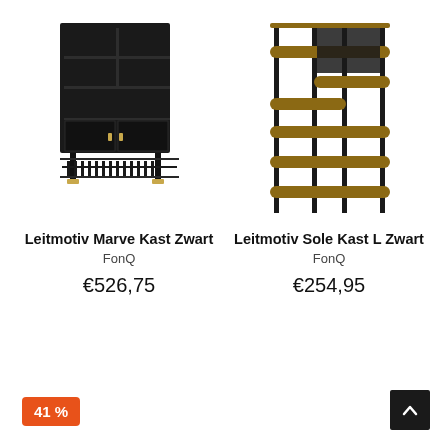[Figure (photo): Black Leitmotiv Marve cabinet with shelves and two doors with gold handles, on black metal legs with slatted lower shelf]
Leitmotiv Marve Kast Zwart
FonQ
€526,75
[Figure (photo): Leitmotiv Sole Kast L Zwart — brown walnut shelving unit with rounded shelves on black metal frame, asymmetric staggered layout]
Leitmotiv Sole Kast L Zwart
FonQ
€254,95
41 %